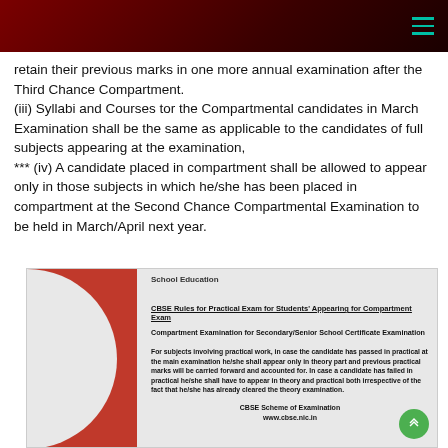Navigation header with hamburger menu
retain their previous marks in one more annual examination after the Third Chance Compartment.
(iii) Syllabi and Courses for the Compartmental candidates in March Examination shall be the same as applicable to the candidates of full subjects appearing at the examination,
*** (iv) A candidate placed in compartment shall be allowed to appear only in those subjects in which he/she has been placed in compartment at the Second Chance Compartmental Examination to be held in March/April next year.
[Figure (infographic): CBSE School Education card showing rules for practical exam for students appearing for compartment exam. Contains title 'CBSE Rules for Practical Exam for Students Appearing for Compartment Exam', subtitle 'Compartment Examination for Secondary/Senior School Certificate Examination', body text about practical exam rules, and footer with 'CBSE Scheme of Examination www.cbse.nic.in'. Red curved design element on left side. Green scroll-to-top button at bottom right.]